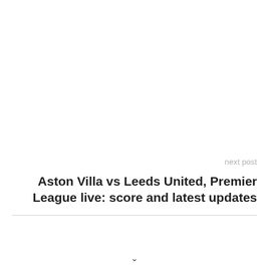next post
Aston Villa vs Leeds United, Premier League live: score and latest updates